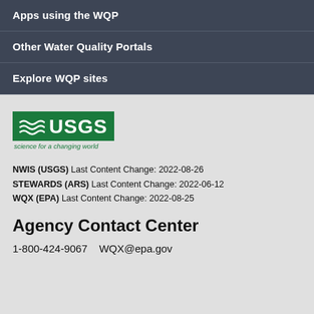Apps using the WQP
Other Water Quality Portals
Explore WQP sites
[Figure (logo): USGS logo — green box with wave icon and 'USGS' text, with tagline 'science for a changing world']
NWIS (USGS) Last Content Change: 2022-08-26
STEWARDS (ARS) Last Content Change: 2022-06-12
WQX (EPA) Last Content Change: 2022-08-25
Agency Contact Center
1-800-424-9067    WQX@epa.gov